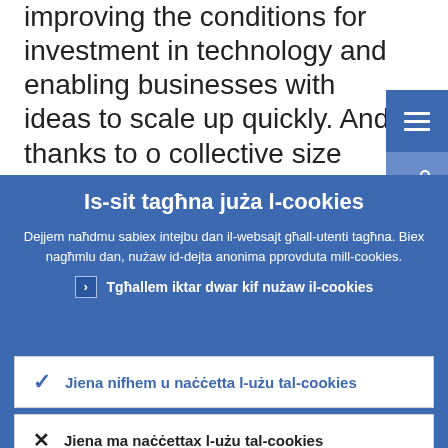improving the conditions for investment in technology and enabling businesses with ideas to scale up quickly. And thanks to our collective size and strength, all the answers we need are within our reach.
Is-sit tagħna juża l-cookies
Dejjem naħdmu sabiex intejbu dan il-websajt għall-utenti tagħna. Biex nagħmlu dan, nużaw id-dejta anonima pprovduta mill-cookies.
Tgħallem iktar dwar kif nużaw il-cookies
Jiena nifhem u naċċetta l-użu tal-cookies
Jiena ma naċċettax l-użu tal-cookies